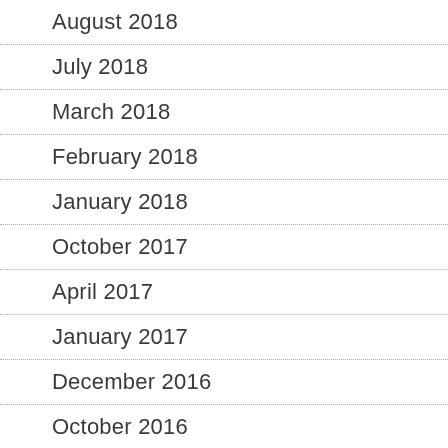August 2018
July 2018
March 2018
February 2018
January 2018
October 2017
April 2017
January 2017
December 2016
October 2016
September 2016
August 2016